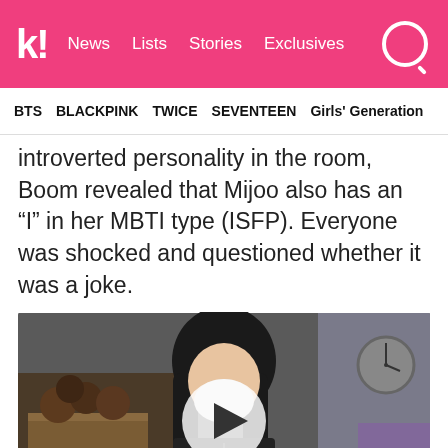k! News Lists Stories Exclusives
BTS BLACKPINK TWICE SEVENTEEN Girls' Generation
introverted personality in the room, Boom revealed that Mijoo also has an “I” in her MBTI type (ISFP). Everyone was shocked and questioned whether it was a joke.
[Figure (screenshot): Video thumbnail showing a young woman in a dark jacket seated in what appears to be a TV show set with produce/vegetables visible in background, with a play button overlay in the center.]
For those unfamiliar with Mijoo, she seems to be